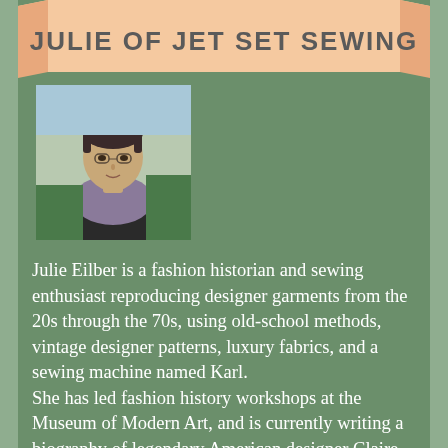JULIE OF JET SET SEWING
[Figure (photo): Portrait photo of Julie Eilber, a woman with short dark hair wearing a dark top and scarf, seated outdoors]
Julie Eilber is a fashion historian and sewing enthusiast reproducing designer garments from the 20s through the 70s, using old-school methods, vintage designer patterns, luxury fabrics, and a sewing machine named Karl. She has led fashion history workshops at the Museum of Modern Art, and is currently writing a biography of legendary American designer Claire McCardell. Julie's reconstructions include a 60s Chanel jacket, a gown by Madame Gres that she wore to the Oscars, and classic fashions by McCardell, Vionnet, and Charles James. Her Schiaparelli Wrap project won a Threads Magazine competition in 2013.